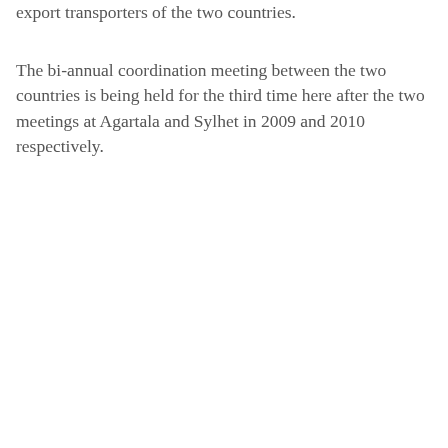export transporters of the two countries.
The bi-annual coordination meeting between the two countries is being held for the third time here after the two meetings at Agartala and Sylhet in 2009 and 2010 respectively.